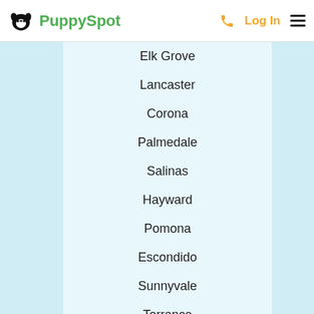PuppySpot  Log In
Elk Grove
Lancaster
Corona
Palmedale
Salinas
Hayward
Pomona
Escondido
Sunnyvale
Torrance